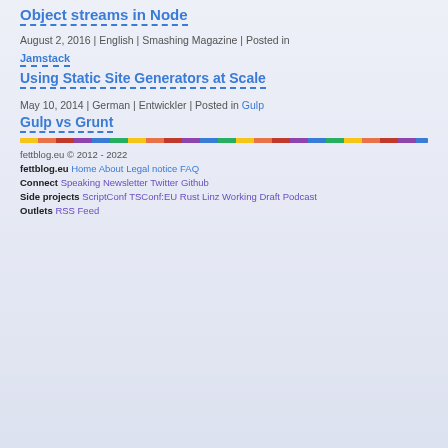Object streams in Node
August 2, 2016 | English | Smashing Magazine | Posted in
Jamstack
Using Static Site Generators at Scale
May 10, 2014 | German | Entwickler | Posted in Gulp
Gulp vs Grunt
fettblog.eu © 2012 - 2022
fettblog.eu Home About Legal notice FAQ
Connect Speaking Newsletter Twitter Github
Side projects ScriptConf TSConf:EU Rust Linz Working Draft Podcast
Outlets RSS Feed